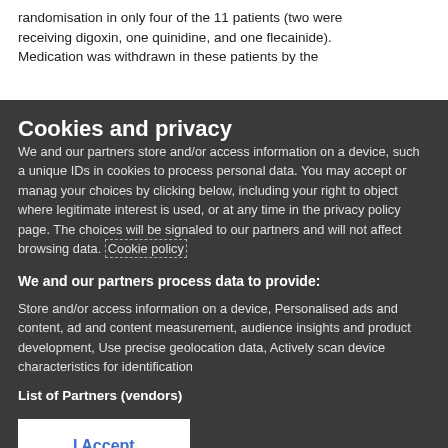randomisation in only four of the 11 patients (two were receiving digoxin, one quinidine, and one flecainide). Medication was withdrawn in these patients by the
Cookies and privacy
We and our partners store and/or access information on a device, such as unique IDs in cookies to process personal data. You may accept or manage your choices by clicking below, including your right to object where legitimate interest is used, or at any time in the privacy policy page. These choices will be signaled to our partners and will not affect browsing data. Cookie policy
We and our partners process data to provide:
Store and/or access information on a device, Personalised ads and content, ad and content measurement, audience insights and product development, Use precise geolocation data, Actively scan device characteristics for identification
List of Partners (vendors)
I Accept